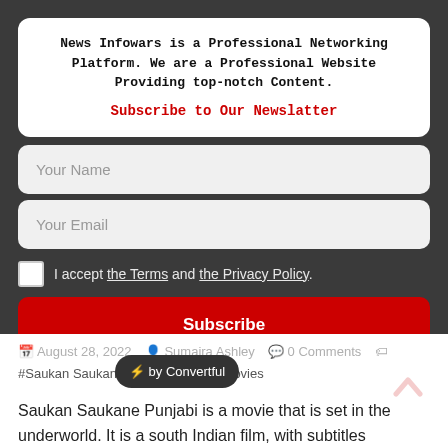News Infowars is a Professional Networking Platform. We are a Professional Website Providing top-notch Content.
Subscribe to Our Newslatter
Your Name
Your Email
I accept the Terms and the Privacy Policy.
Subscribe
August 28, 2022  Sumaira Ashley  0 Comments
#Saukan Saukane, #Sa... ment, Movies
⚡ by Convertful
Saukan Saukane Punjabi is a movie that is set in the underworld. It is a south Indian film, with subtitles available in various languages.
Read more